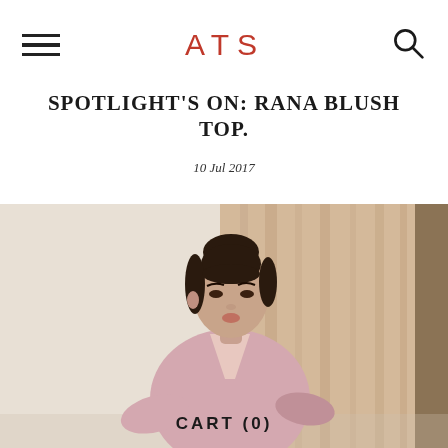ATS
SPOTLIGHT'S ON: RANA BLUSH TOP.
10 Jul 2017
[Figure (photo): Fashion editorial photo of a young woman with dark hair in a bun, wearing a blush pink top, posed against draped blush/nude curtains. Overlay text reads CART (0).]